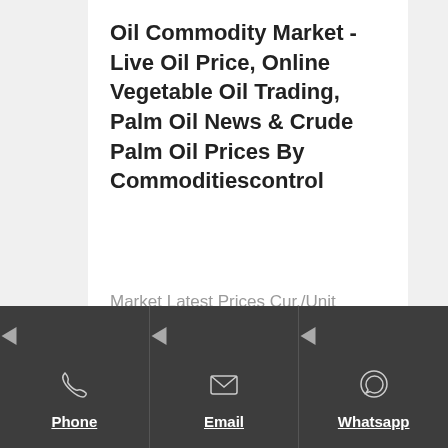Oil Commodity Market - Live Oil Price, Online Vegetable Oil Trading, Palm Oil News & Crude Palm Oil Prices By Commoditiescontrol
Market Latest Prices Cur./Unit Date Min Max Mustard Seed - Spot Rewari 7,100 7,100 Rs / 100kg 05-01-22 Sunflower Oil - CrudeCIFS Chennai 1,440 1,440
Phone | Email | Whatsapp